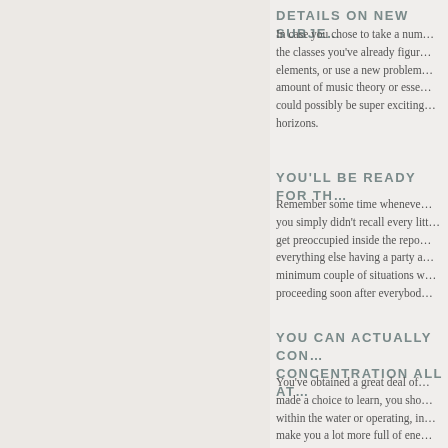DETAILS ON NEW SUBJE…
In case you chose to take a num… the classes you've already figur… elements, or use a new problem… amount of music theory or esse… could possibly be super exciting… horizons.
YOU'LL BE READY FOR TH…
Remember some time wheneve… you simply didn't recall every litt… get preoccupied inside the repo… everything else having a party a… minimum couple of situations w… proceeding soon after everybod…
YOU CAN ACTUALLY CON… CONCENTRATION ALL AT…
You've obtained a great deal of… made a choice to learn, you sho… within the water or operating, in… make you a lot more full of ene…